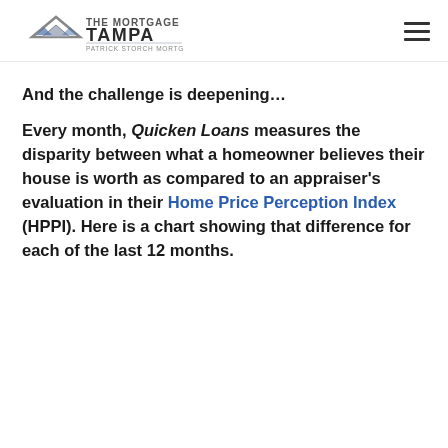The Mortgage Firm Tampa — Patrick Storch Mortgage Team
And the challenge is deepening…
Every month, Quicken Loans measures the disparity between what a homeowner believes their house is worth as compared to an appraiser's evaluation in their Home Price Perception Index (HPPI). Here is a chart showing that difference for each of the last 12 months.